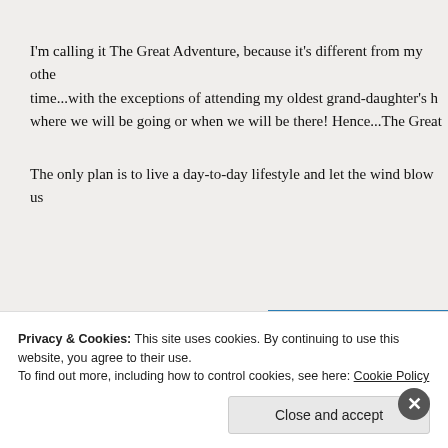I'm calling it The Great Adventure, because it's different from my other time...with the exceptions of attending my oldest grand-daughter's h where we will be going or when we will be there! Hence...The Great
The only plan is to live a day-to-day lifestyle and let the wind blow us
[Figure (screenshot): Partial blue banner showing the word 'stories' in large light blue text on a blue background]
Privacy & Cookies: This site uses cookies. By continuing to use this website, you agree to their use. To find out more, including how to control cookies, see here: Cookie Policy
Close and accept